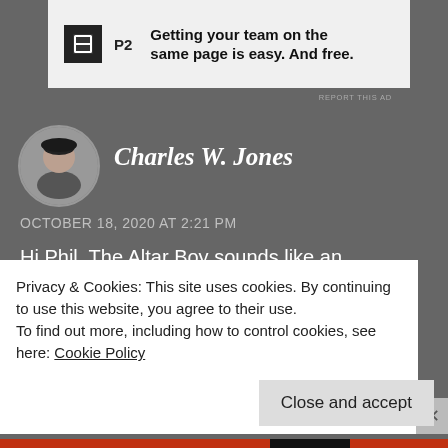[Figure (other): P2 advertisement banner with logo and tagline: Getting your team on the same page is easy. And free.]
REPORT THIS AD
Charles W. Jones
OCTOBER 18, 2020 AT 2:21 PM
Hi Phil. The Altar Boy sounds like an interesting read. Enjoy your day!
Like
Privacy & Cookies: This site uses cookies. By continuing to use this website, you agree to their use.
To find out more, including how to control cookies, see here: Cookie Policy
Close and accept